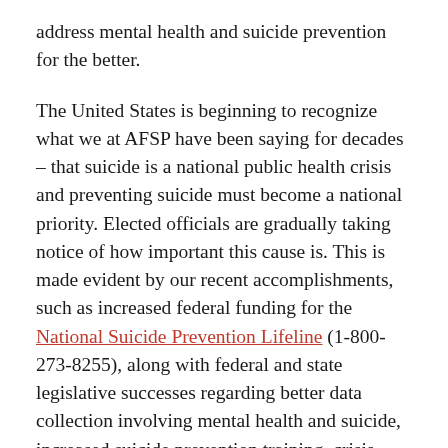address mental health and suicide prevention for the better.
The United States is beginning to recognize what we at AFSP have been saying for decades – that suicide is a national public health crisis and preventing suicide must become a national priority. Elected officials are gradually taking notice of how important this cause is. This is made evident by our recent accomplishments, such as increased federal funding for the National Suicide Prevention Lifeline (1-800-273-8255), along with federal and state legislative successes regarding better data collection involving mental health and suicide, increased suicide prevention training, crisis lines, and more. This past year we launched four new State Capitol Day events, reflecting increased interest in advocating for suicide prevention on the